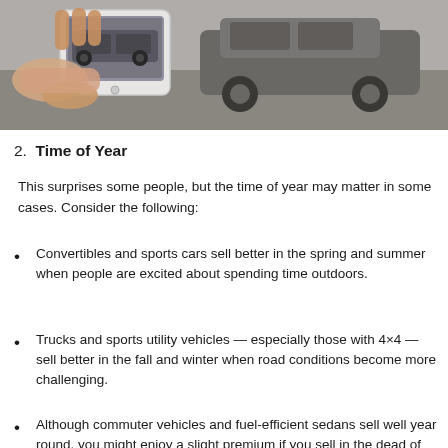[Figure (photo): A hand holding a smartphone photographing a car, showing the car reflected in the phone screen. A vehicle is visible in the background on a road.]
2. Time of Year
This surprises some people, but the time of year may matter in some cases. Consider the following:
Convertibles and sports cars sell better in the spring and summer when people are excited about spending time outdoors.
Trucks and sports utility vehicles — especially those with 4×4 — sell better in the fall and winter when road conditions become more challenging.
Although commuter vehicles and fuel-efficient sedans sell well year round, you might enjoy a slight premium if you sell in the dead of winter or height of summer. At those points…